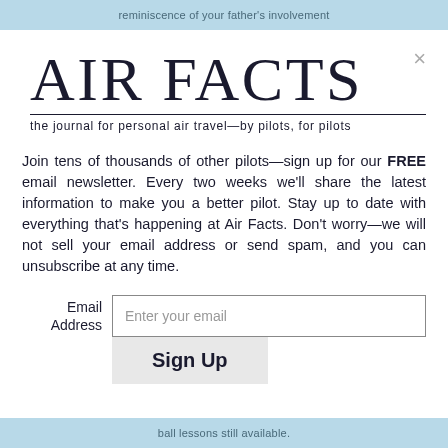reminiscence of your father's involvement
AIR FACTS
the journal for personal air travel—by pilots, for pilots
Join tens of thousands of other pilots—sign up for our FREE email newsletter. Every two weeks we'll share the latest information to make you a better pilot. Stay up to date with everything that's happening at Air Facts. Don't worry—we will not sell your email address or send spam, and you can unsubscribe at any time.
Email Address  [Enter your email]  Sign Up
ball lessons still available.